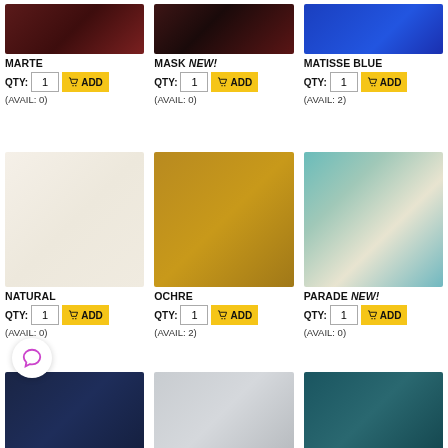[Figure (photo): Skein of dark red/maroon yarn - MARTE]
MARTE
QTY: 1  ADD  (AVAIL: 0)
[Figure (photo): Skeins of dark brown/maroon yarn - MASK NEW!]
MASK NEW!
QTY: 1  ADD  (AVAIL: 0)
[Figure (photo): Skein of bright blue yarn - MATISSE BLUE]
MATISSE BLUE
QTY: 1  ADD  (AVAIL: 2)
[Figure (photo): Large skein of natural/white yarn - NATURAL]
NATURAL
QTY: 1  ADD  (AVAIL: 0)
[Figure (photo): Skein of golden ochre yarn - OCHRE]
OCHRE
QTY: 1  ADD  (AVAIL: 2)
[Figure (photo): Speckled teal/multicolor yarn skein - PARADE NEW!]
PARADE NEW!
QTY: 1  ADD  (AVAIL: 0)
[Figure (photo): Dark navy yarn skein (partial)]
[Figure (photo): Light grey yarn skein (partial)]
[Figure (photo): Teal/dark teal yarn skein (partial)]